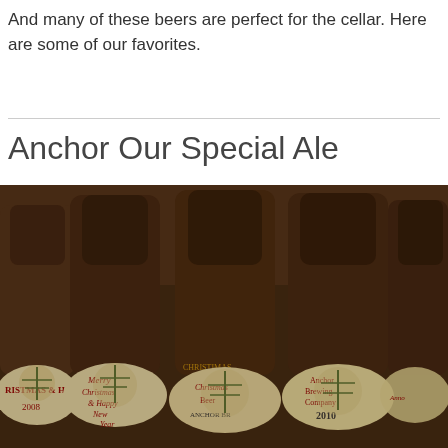And many of these beers are perfect for the cellar. Here are some of our favorites.
Anchor Our Special Ale
[Figure (photo): Multiple dark brown Anchor Brewing Company beer bottles with cream-colored labels showing Christmas/holiday designs and years (2008, 2010), arranged in a row on a table]